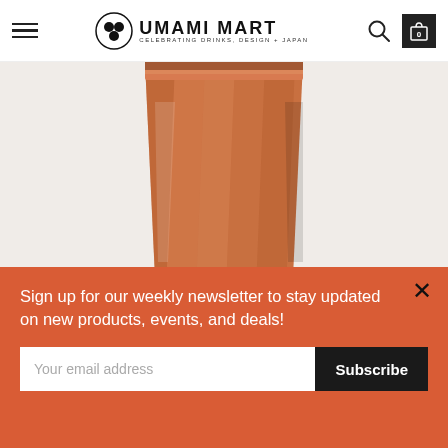UMAMI MART — Celebrating Drinks, Design + Japan
[Figure (photo): Close-up photo of an amber-colored drink in a faceted glass tumbler with a shadow cast on a white surface, with a spiced or salted rim]
Sign up for our weekly newsletter to stay updated on new products, events, and deals!